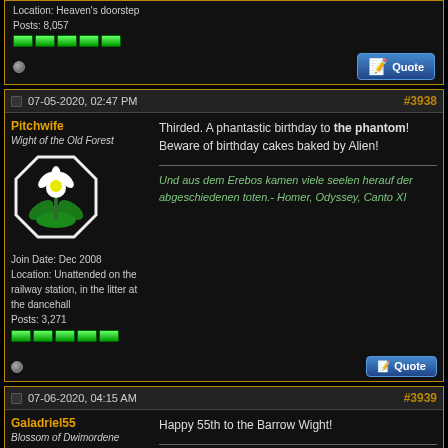Location: Heaven's doorstep
Posts: 8,057
07-05-2020, 02:47 PM  #3938
Pitchwife
Wight of the Old Forest
Join Date: Dec 2008
Location: Unattended on the railway station, in the litter at the dancehall
Posts: 3,271
Thirded. A phantastic birthday to the phantom! Beware of birthday cakes baked by Alien!

Und aus dem Erebos kamen viele seelen herauf der abgeschiedenen toten.- Homer, Odyssey, Canto XI
07-06-2020, 04:15 AM  #3939
Galadriel55
Blossom of Dwimordene
Happy 55th to the Barrow Wight!

You passed from under